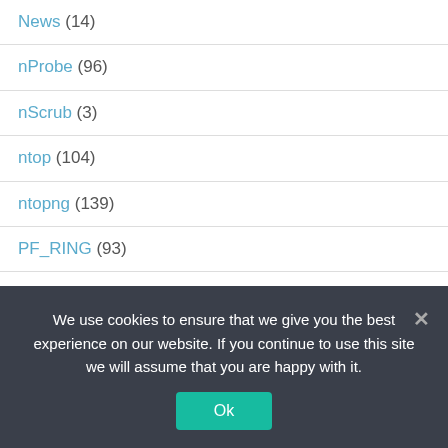News (14)
nProbe (96)
nScrub (3)
ntop (104)
ntopng (139)
PF_RING (93)
snort (3)
TNAPI (11)
tutorials (17)
We use cookies to ensure that we give you the best experience on our website. If you continue to use this site we will assume that you are happy with it.